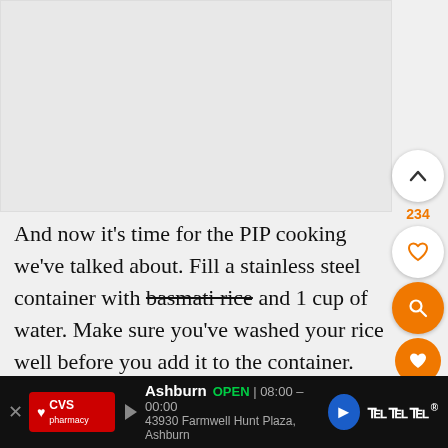[Figure (photo): Large image placeholder area at top of page, light gray background representing a recipe photo]
[Figure (infographic): Sidebar UI buttons: upvote chevron with count 234, heart/like button, orange search button, small orange heart button with count 9.5K, share button]
And now it’s time for the PIP cooking we’ve talked about. Fill a stainless steel container with basmati rice (strikethrough) and 1 cup of water. Make sure you’ve washed your rice well before you add it to the container. Then set the trivet inside of the Instant Pot so the trivet legs are sitting in the mixture of curry tofu and vegetables. Place th...
[Figure (infographic): CVS Pharmacy advertisement bar at bottom: CVS logo, Ashburn store OPEN 08:00-00:00, address 43930 Farmwell Hunt Plaza Ashburn, navigation arrow, and third-party logo]